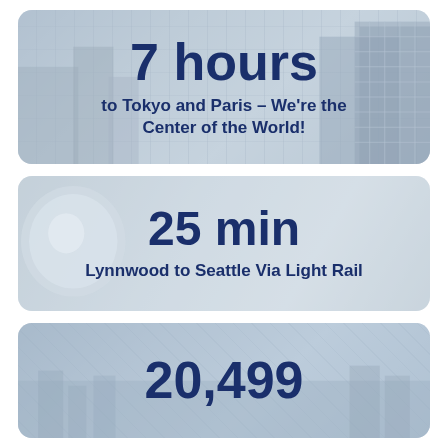[Figure (infographic): Card with aerial building background showing '7 hours' stat and subtitle 'to Tokyo and Paris – We're the Center of the World!']
[Figure (infographic): Card with light gray background showing '25 min' stat and subtitle 'Lynnwood to Seattle Via Light Rail']
[Figure (infographic): Card with aerial city background showing '20,499' stat (partially visible)]